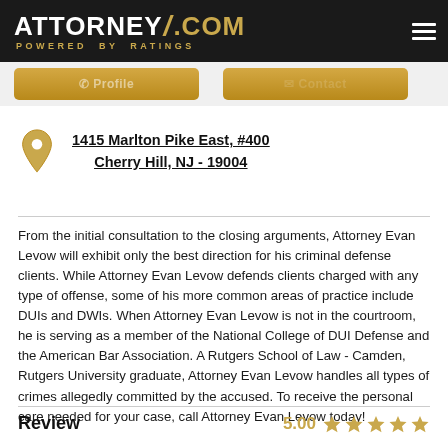ATTORNEY/.COM POWERED BY RATINGS
1415 Marlton Pike East, #400
Cherry Hill, NJ - 19004
From the initial consultation to the closing arguments, Attorney Evan Levow will exhibit only the best direction for his criminal defense clients. While Attorney Evan Levow defends clients charged with any type of offense, some of his more common areas of practice include DUIs and DWIs. When Attorney Evan Levow is not in the courtroom, he is serving as a member of the National College of DUI Defense and the American Bar Association. A Rutgers School of Law - Camden, Rutgers University graduate, Attorney Evan Levow handles all types of crimes allegedly committed by the accused. To receive the personal care needed for your case, call Attorney Evan Levow today!
Review
5.00 ★★★★★